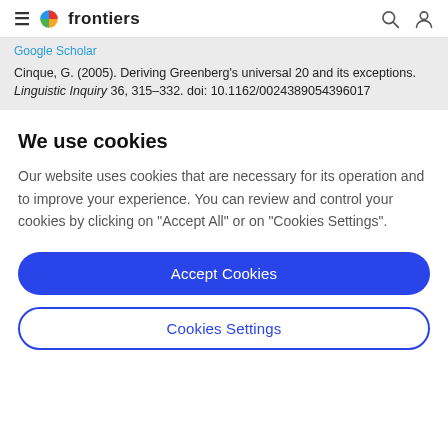frontiers
Google Scholar
Cinque, G. (2005). Deriving Greenberg’s universal 20 and its exceptions. Linguistic Inquiry 36, 315–332. doi: 10.1162/0024389054396017
We use cookies
Our website uses cookies that are necessary for its operation and to improve your experience. You can review and control your cookies by clicking on “Accept All” or on “Cookies Settings”.
Accept Cookies
Cookies Settings